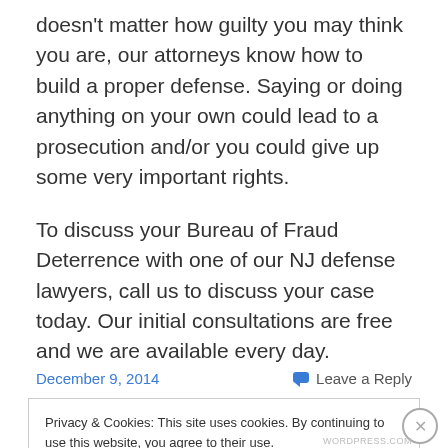doesn't matter how guilty you may think you are, our attorneys know how to build a proper defense. Saying or doing anything on your own could lead to a prosecution and/or you could give up some very important rights.
To discuss your Bureau of Fraud Deterrence with one of our NJ defense lawyers, call us to discuss your case today. Our initial consultations are free and we are available every day.
December 9, 2014
Leave a Reply
Privacy & Cookies: This site uses cookies. By continuing to use this website, you agree to their use.
To find out more, including how to control cookies, see here: Cookie Policy
Close and accept